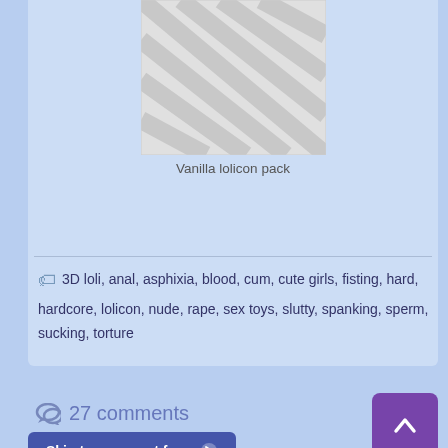[Figure (photo): Placeholder image with grey diagonal stripes indicating missing image]
Vanilla lolicon pack
3D loli, anal, asphixia, blood, cum, cute girls, fisting, hard, hardcore, lolicon, nude, rape, sex toys, slutty, spanking, sperm, sucking, torture
27 comments
Skip to comment form
Paul on June 24, 2019 # Reply